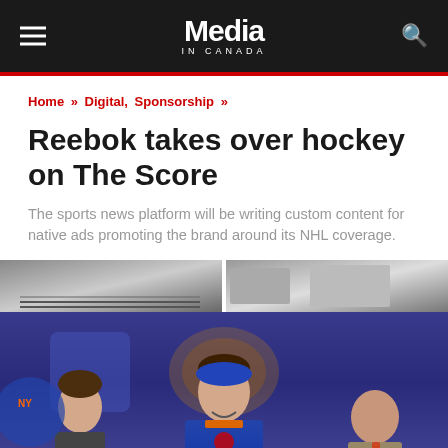Media in Canada
Home » Digital, Sponsorship »
Reebok takes over hockey on The Score
The sports news platform will be writing custom content for native ads promoting the brand around its NHL coverage.
[Figure (photo): Two-panel image strip showing a Reebok shoe on the left and a person in a gym on the right]
[Figure (photo): NHL draft photo showing a young hockey player in a blue New York Islanders jersey smiling, flanked by two people, with a draft backdrop behind them]